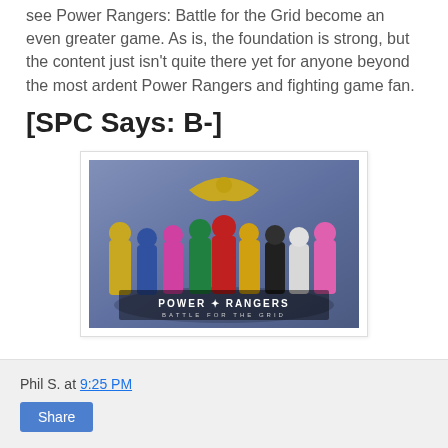see Power Rangers: Battle for the Grid become an even greater game. As is, the foundation is strong, but the content just isn't quite there yet for anyone beyond the most ardent Power Rangers and fighting game fan.
[SPC Says: B-]
[Figure (photo): Power Rangers: Battle for the Grid promotional image showing multiple Power Rangers characters posed together with the game logo at the bottom.]
Phil S. at 9:25 PM
Share